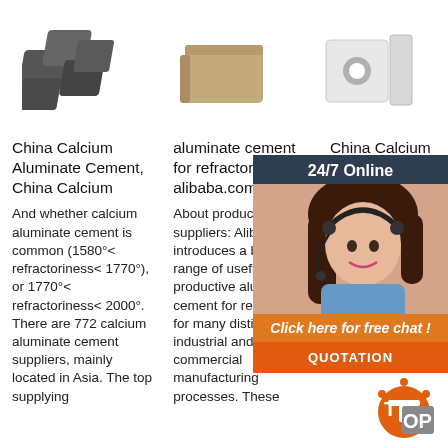[Figure (photo): Three product images: dark grey refractory blocks, a beige/tan brick, and a white cement form with cylinder]
China Calcium Aluminate Cement, China Calcium
aluminate cement for refractory - alibaba.com
China Calcium Aluminate Cement, Calcium Alum
And whether calcium aluminate cement is common (1580°< refractoriness< 1770°), or 1770°< refractoriness< 2000°. There are 772 calcium aluminate cement suppliers, mainly located in Asia. The top supplying
About products and suppliers: Alibaba.com introduces a broad range of useful and productive aluminate cement for refractory for many distinct industrial and commercial manufacturing processes. These
Almost Material by hun someth Calcium Cement manufacturers proovide China Cement, Special Cement, Water Reducer products with 1. These
[Figure (infographic): 24/7 Online chat widget overlay with woman wearing headset, orange click here for free chat button, and QUOTATION button]
[Figure (logo): TOP badge logo in orange and grey]